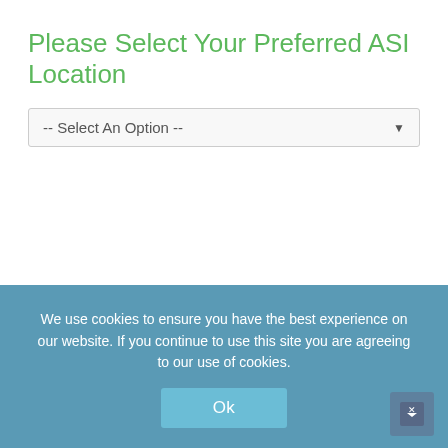Please Select Your Preferred ASI Location
[Figure (screenshot): Dropdown selector UI element showing '-- Select An Option --' with a down arrow on the right, inside a bordered box]
We use cookies to ensure you have the best experience on our website. If you continue to use this site you are agreeing to our use of cookies.
Ok